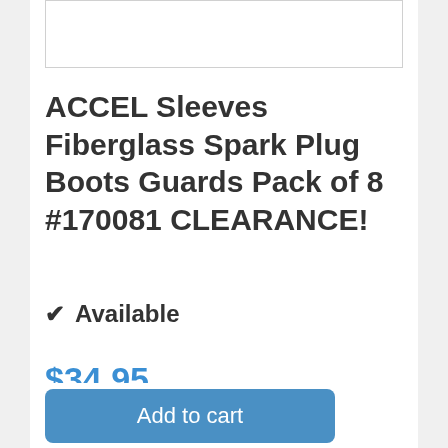[Figure (other): Product image placeholder box with border]
ACCEL Sleeves Fiberglass Spark Plug Boots Guards Pack of 8 #170081 CLEARANCE!
✔ Available
$34.95
Add to cart